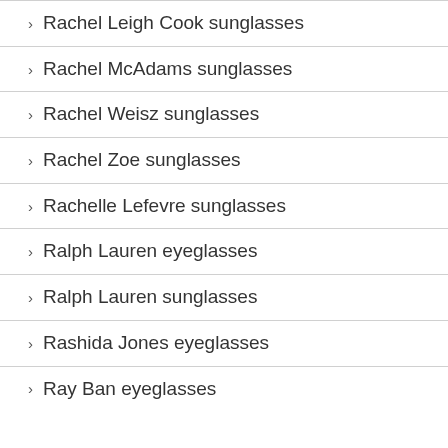Rachel Leigh Cook sunglasses
Rachel McAdams sunglasses
Rachel Weisz sunglasses
Rachel Zoe sunglasses
Rachelle Lefevre sunglasses
Ralph Lauren eyeglasses
Ralph Lauren sunglasses
Rashida Jones eyeglasses
Ray Ban eyeglasses